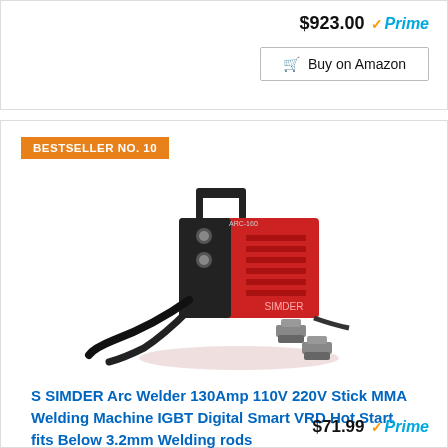$923.00 Prime
Buy on Amazon
BESTSELLER NO. 10
[Figure (photo): Red S SIMDER ARC-160 welder machine with black handle, control panel with knobs, ventilation slots, and attached welding cables with clamps]
S SIMDER Arc Welder 130Amp 110V 220V Stick MMA Welding Machine IGBT Digital Smart VRD Hot Start fits Below 3.2mm Welding rods
$71.99 Prime